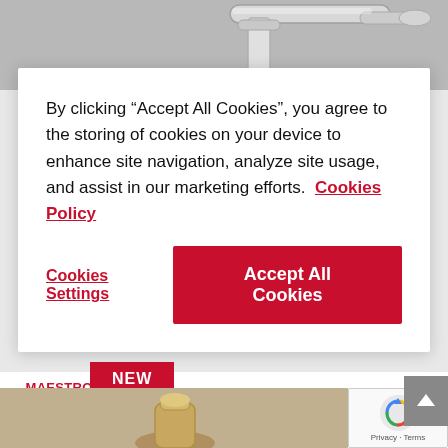[Figure (photo): Chrome kitchen tap/faucet with pull-out shower head, visible at top of page above cookie consent modal]
By clicking “Accept All Cookies”, you agree to the storing of cookies on your device to enhance site navigation, analyze site usage, and assist in our marketing efforts.  Cookies Policy
Cookies Settings
Accept All Cookies
_MAESTRO > ARK 938
Single Lever Kitchen Tap with pull-out shower
Compare ⇕
NEW
[Figure (photo): Partial view of a brass/gold kitchen tap product at bottom of page]
[Figure (other): reCAPTCHA widget with Google logo, Privacy and Terms links]